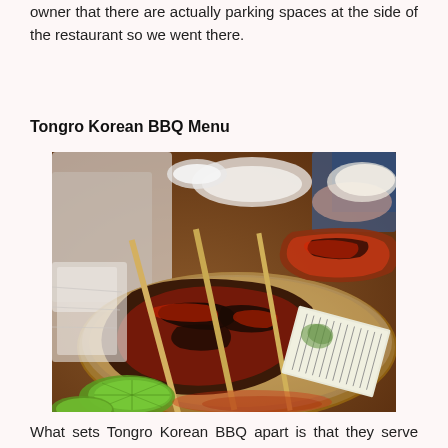owner that there are actually parking spaces at the side of the restaurant so we went there.
Tongro Korean BBQ Menu
[Figure (photo): Close-up photo of Korean BBQ meat skewers on a round wicker/plastic tray. The meat appears charred and glazed with red sauce. A paper receipt or menu is visible in the lower right corner. Green lime wedges are visible at the bottom. Background shows a table setting with bowls and other diners.]
What sets Tongro Korean BBQ apart is that they serve both